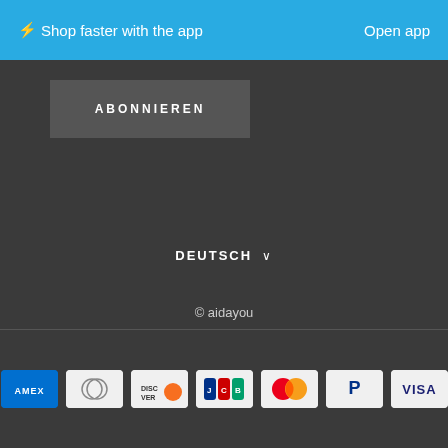⚡ Shop faster with the app    Open app
[Figure (screenshot): ABONNIEREN button on dark background]
DEUTSCH ∨
© aidayou
Powered by Shopify
[Figure (infographic): Payment method icons: Amex, Diners Club, Discover, JCB, Mastercard, PayPal, Visa]